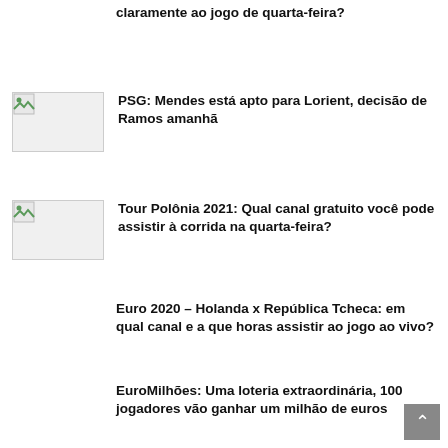claramente ao jogo de quarta-feira?
[Figure (photo): Thumbnail image placeholder for PSG article]
PSG: Mendes está apto para Lorient, decisão de Ramos amanhã
[Figure (photo): Thumbnail image placeholder for Tour Polônia article]
Tour Polônia 2021: Qual canal gratuito você pode assistir à corrida na quarta-feira?
Euro 2020 – Holanda x República Tcheca: em qual canal e a que horas assistir ao jogo ao vivo?
EuroMilhões: Uma loteria extraordinária, 100 jogadores vão ganhar um milhão de euros